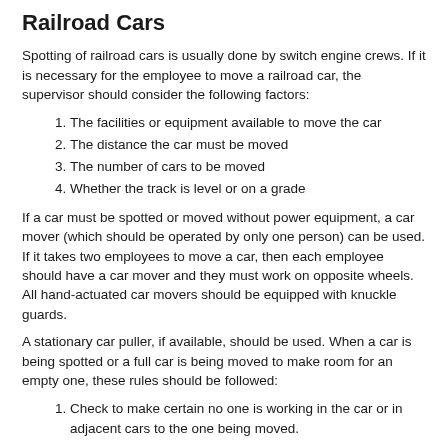Railroad Cars
Spotting of railroad cars is usually done by switch engine crews. If it is necessary for the employee to move a railroad car, the supervisor should consider the following factors:
The facilities or equipment available to move the car
The distance the car must be moved
The number of cars to be moved
Whether the track is level or on a grade
If a car must be spotted or moved without power equipment, a car mover (which should be operated by only one person) can be used. If it takes two employees to move a car, then each employee should have a car mover and they must work on opposite wheels. All hand-actuated car movers should be equipped with knuckle guards.
A stationary car puller, if available, should be used. When a car is being spotted or a full car is being moved to make room for an empty one, these rules should be followed:
Check to make certain no one is working in the car or in adjacent cars to the one being moved.